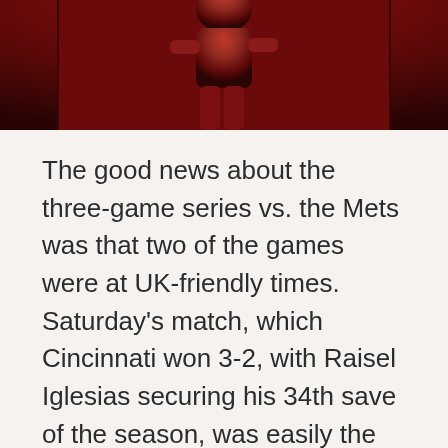[Figure (photo): A baseball player in a dark red/maroon uniform against a deep red background, partially visible at the top of the page.]
The good news about the three-game series vs. the Mets was that two of the games were at UK-friendly times. Saturday's match, which Cincinnati won 3-2, with Raisel Iglesias securing his 34th save of the season, was easily the best. On Friday, Luis Castillo tossed a gem, only allowing three hits. Two